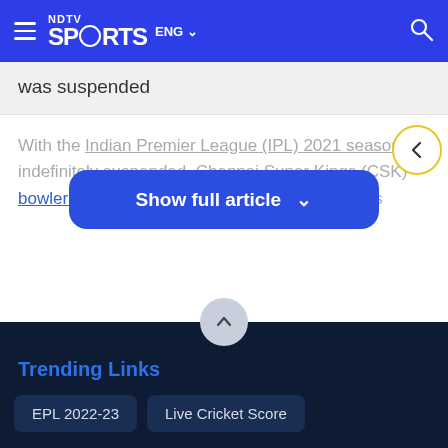NDTV Sports ENG
was suspended
With the Indian Premier League (IPL) 2021 season indefinitely su... ngs (CSK) bowler Deepak Chahar revealed that none of his
[Figure (screenshot): Show full article button overlay with chevron down icon]
[Figure (screenshot): Comments button with speech bubble icon]
Trending Links
EPL 2022-23
Live Cricket Score